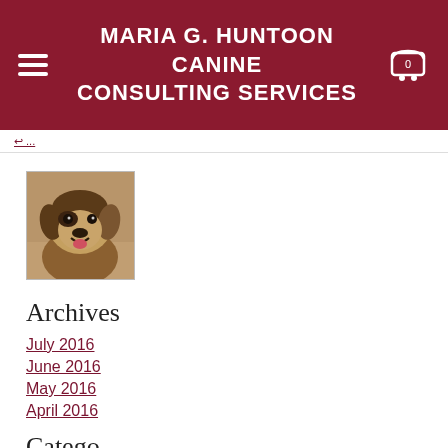MARIA G. HUNTOON CANINE CONSULTING SERVICES
[Figure (photo): Photo of a dog, brown and tan mixed breed, smiling/panting, looking at camera]
Archives
July 2016
June 2016
May 2016
April 2016
Categories